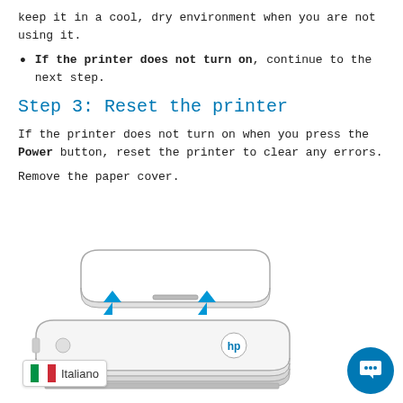keep it in a cool, dry environment when you are not using it.
If the printer does not turn on, continue to the next step.
Step 3: Reset the printer
If the printer does not turn on when you press the Power button, reset the printer to clear any errors.
Remove the paper cover.
[Figure (illustration): Exploded diagram of an HP portable printer showing the paper cover being lifted off the main body unit, with two blue upward arrows indicating the removal direction.]
Italiano